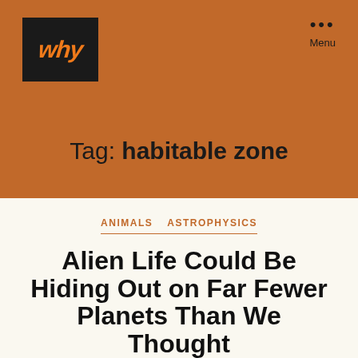[Figure (logo): WHY logo in orange text on black background]
Menu
Tag: habitable zone
ANIMALS  ASTROPHYSICS
Alien Life Could Be Hiding Out on Far Fewer Planets Than We Thought